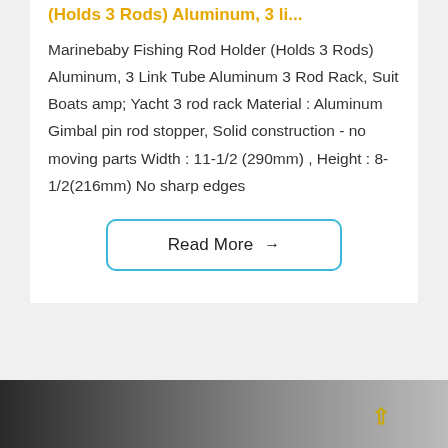(Holds 3 Rods) Aluminum, 3 li...
Marinebaby Fishing Rod Holder (Holds 3 Rods) Aluminum, 3 Link Tube Aluminum 3 Rod Rack, Suit Boats amp; Yacht 3 rod rack Material : Aluminum Gimbal pin rod stopper, Solid construction - no moving parts Width : 11-1/2 (290mm) , Height : 8-1/2(216mm) No sharp edges
Read More →